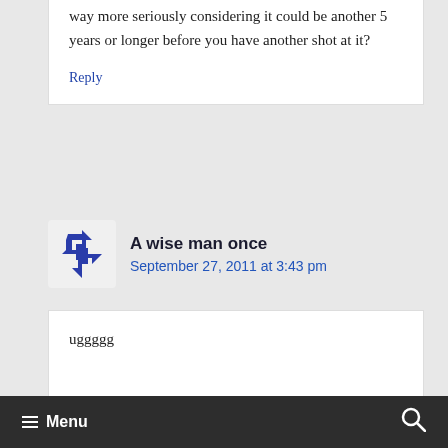way more seriously considering it could be another 5 years or longer before you have another shot at it?
Reply
A wise man once
September 27, 2011 at 3:43 pm
uggggg
≡ Menu  🔍